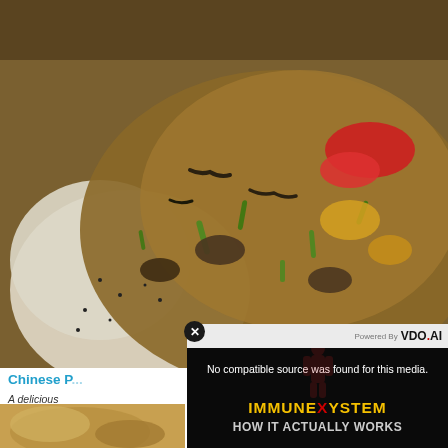[Figure (photo): Close-up food photo of Chinese fried rice dish with vegetables, mushrooms, tomatoes, green onions, and what appears to be insects/mealworms on top]
Chinese P...
A delicious... easy and m... cupboards... somewher... however,...
Author: K...
[Figure (screenshot): Video player overlay with VDO.AI branding showing 'No compatible source was found for this media.' message and Immune System How It Actually Works promotional content. Has a close (x) button in top-left corner.]
[Figure (photo): Partial thumbnail of another food item at the bottom of the page]